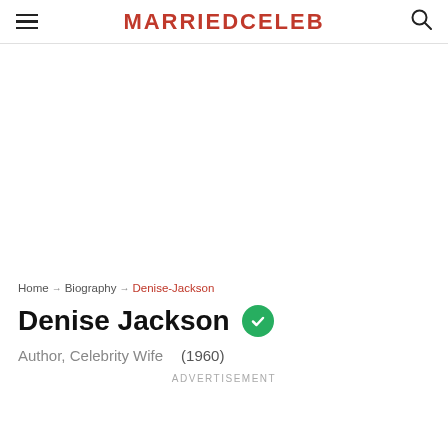MARRIEDCELEB
Home → Biography → Denise-Jackson
Denise Jackson
Author, Celebrity Wife   (1960)
ADVERTISEMENT